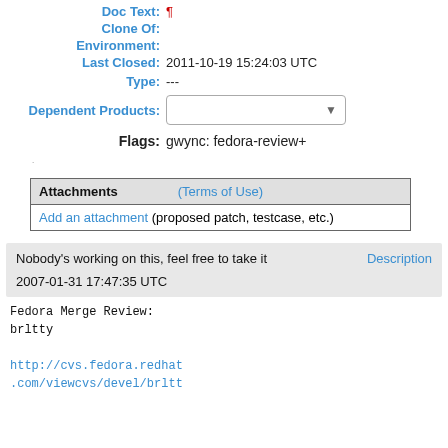Doc Text: ¶
Clone Of:
Environment:
Last Closed: 2011-10-19 15:24:03 UTC
Type: ---
Dependent Products: [dropdown]
Flags: gwync: fedora-review+
| Attachments | (Terms of Use) |
| --- | --- |
| Add an attachment (proposed patch, testcase, etc.) |  |
Nobody's working on this, feel free to take it
Description
2007-01-31 17:47:35 UTC
Fedora Merge Review:
brltty

http://cvs.fedora.redhat.com/viewcvs/devel/brltt